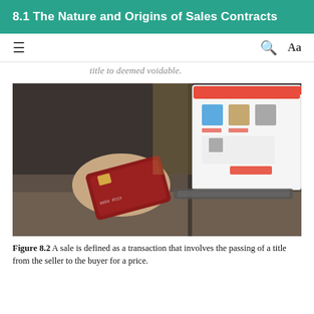8.1 The Nature and Origins of Sales Contracts
title to deemed voidable.
[Figure (photo): A person holding a red credit card in front of an open laptop displaying an online shopping website.]
Figure 8.2 A sale is defined as a transaction that involves the passing of a title from the seller to the buyer for a price. (Credit: Negative Space; Pexels; public domain)